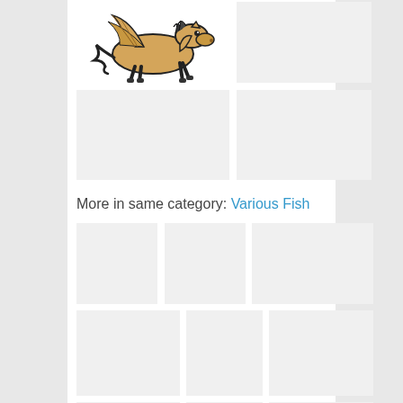[Figure (illustration): A golden/tan winged horse (Pegasus) running to the right with black outline details and a flowing curled tail, on white background]
[Figure (other): Gray placeholder image box, top right]
[Figure (other): Gray placeholder image box, second row left]
[Figure (other): Gray placeholder image box, second row right]
More in same category: Various Fish
[Figure (other): Gray placeholder image box, fish grid row 1 col 1]
[Figure (other): Gray placeholder image box, fish grid row 1 col 2]
[Figure (other): Gray placeholder image box, fish grid row 1 col 3]
[Figure (other): Gray placeholder image box, fish grid row 2 col 1]
[Figure (other): Gray placeholder image box, fish grid row 2 col 2]
[Figure (other): Gray placeholder image box, fish grid row 2 col 3]
[Figure (other): Gray placeholder image box, fish grid row 3 col 1 (partially visible)]
[Figure (other): Gray placeholder image box, fish grid row 3 col 2 (partially visible)]
[Figure (other): Gray placeholder image box, fish grid row 3 col 3 (partially visible)]